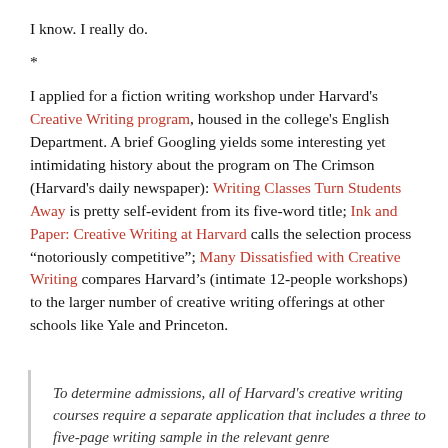I know. I really do.
*
I applied for a fiction writing workshop under Harvard's Creative Writing program, housed in the college's English Department. A brief Googling yields some interesting yet intimidating history about the program on The Crimson (Harvard's daily newspaper): Writing Classes Turn Students Away is pretty self-evident from its five-word title; Ink and Paper: Creative Writing at Harvard calls the selection process “notoriously competitive”; Many Dissatisfied with Creative Writing compares Harvard’s (intimate 12-people workshops) to the larger number of creative writing offerings at other schools like Yale and Princeton.
To determine admissions, all of Harvard’s creative writing courses require a separate application that includes a three to five-page writing sample in the relevant genre